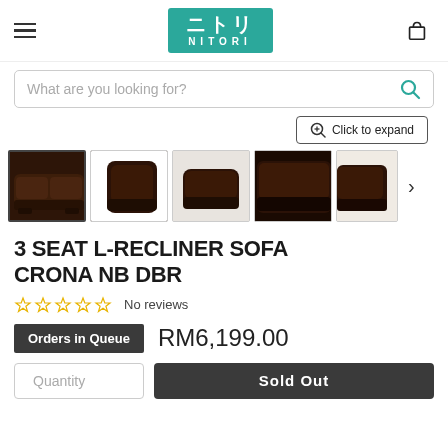[Figure (logo): Nitori brand logo - teal/green square with Japanese characters and NITORI text in white]
What are you looking for?
Click to expand
[Figure (photo): Five thumbnail images of a dark brown leather 3-seat L-recliner sofa (CRONA NB DBR) shown from various angles]
3 SEAT L-RECLINER SOFA CRONA NB DBR
No reviews
Orders in Queue   RM6,199.00
Quantity